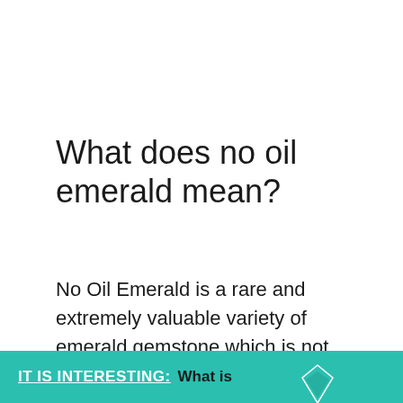What does no oil emerald mean?
No Oil Emerald is a rare and extremely valuable variety of emerald gemstone which is not clarity enhanced by the additional of any oil. These gems are naturally clean and have no fracture at the surface. This leaves no chance for a ‘foreign’ material (oil or resin) to get inside the stone.
IT IS INTERESTING: What is